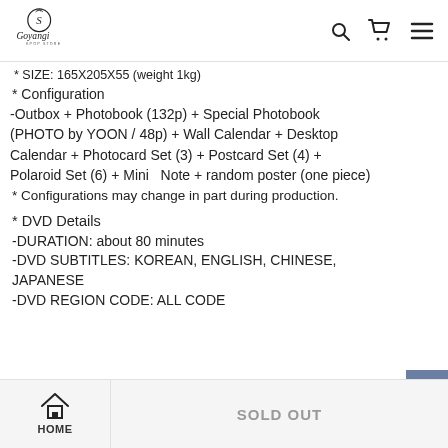Goyangi Kpop Store — navigation header with logo, search, cart, and menu icons
SIZE: 165X205X55 (weight 1kg)
* Configuration
-Outbox + Photobook (132p) + Special Photobook (PHOTO by YOON / 48p) + Wall Calendar + Desktop Calendar + Photocard Set (3) + Postcard Set (4) + Polaroid Set (6) + Mini  Note + random poster (one piece)
* Configurations may change in part during production.
* DVD Details
-DURATION: about 80 minutes
-DVD SUBTITLES: KOREAN, ENGLISH, CHINESE, JAPANESE
-DVD REGION CODE: ALL CODE
HOME   SOLD OUT